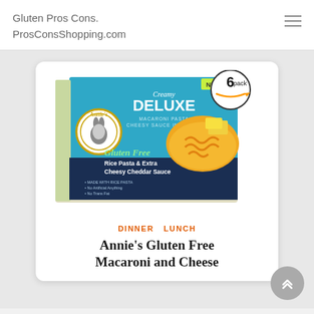Gluten Pros Cons.
ProsConsShopping.com
[Figure (photo): Annie's Creamy Deluxe Gluten Free Rice Pasta & Extra Cheesy Cheddar Sauce macaroni and cheese box, 6 pack, with Amazon branding circle in top right corner. Box is teal/blue with image of mac and cheese on a plate.]
DINNER  LUNCH
Annie's Gluten Free Macaroni and Cheese